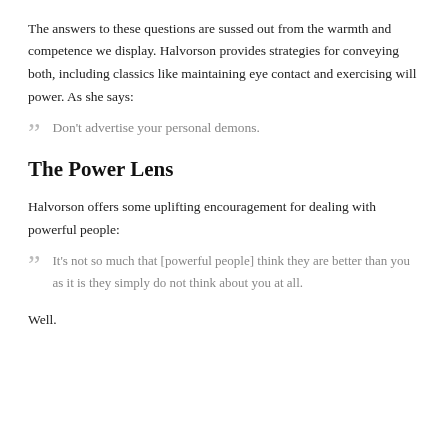The answers to these questions are sussed out from the warmth and competence we display. Halvorson provides strategies for conveying both, including classics like maintaining eye contact and exercising will power. As she says:
Don't advertise your personal demons.
The Power Lens
Halvorson offers some uplifting encouragement for dealing with powerful people:
It's not so much that [powerful people] think they are better than you as it is they simply do not think about you at all.
Well.